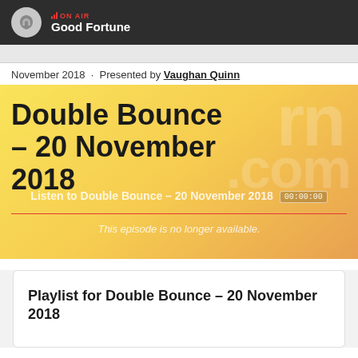ON AIR Good Fortune
November 2018 · Presented by Vaughan Quinn
Double Bounce – 20 November 2018
Listen to Double Bounce – 20 November 2018 [00:00:00]
This episode is no longer available.
Playlist for Double Bounce – 20 November 2018